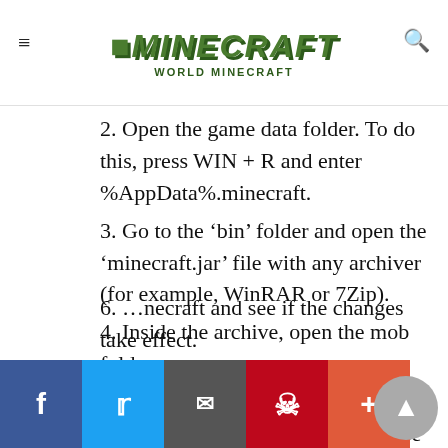WORLD MINECRAFT
2. Open the game data folder. To do this, press WIN + R and enter %AppData%.minecraft.
3. Go to the ‘bin’ folder and open the ‘minecraft.jar’ file with any archiver (for example, WinRAR or 7Zip).
4. Inside the archive, open the mob folder.
5. Drop the char.png file into this folder by dragging it with the mouse into the archiver window.
6. Launch Minecraft and see if the changes take effect.